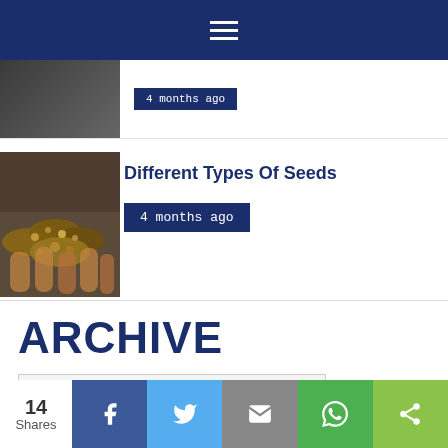Navigation menu header bar with hamburger icon
[Figure (photo): Partial article thumbnail image (top, cropped)]
4 months ago
[Figure (photo): Hands holding seeds - article thumbnail for Different Types Of Seeds]
Different Types Of Seeds
4 months ago
ARCHIVE
Select Month
14 Shares